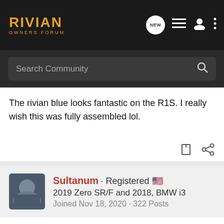[Figure (screenshot): Rivian Owners Forum navigation bar with logo, search icon, new posts icon, list icon, user icon, and more options icon on dark background]
[Figure (screenshot): Search Community input bar with magnifying glass icon on dark background]
The rivian blue looks fantastic on the R1S. I really wish this was fully assembled lol.
[Figure (screenshot): User card for Sultanum showing avatar, username, Registered with US flag, vehicle info 2019 Zero SR/F and 2018, BMW i3, Joined Nov 18, 2020 · 322 Posts]
#3 · Jan 28, 2021
The guy in the left of the R1S in the picture is huge right? The R1S looks like a compact SUV next to him 😅
Jokes aside, I love this blue but cannot get over the $2500 to